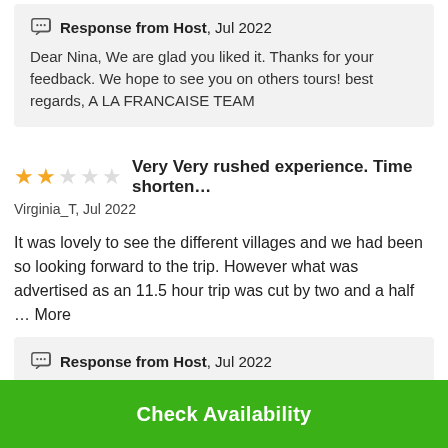Response from Host, Jul 2022
Dear Nina, We are glad you liked it. Thanks for your feedback. We hope to see you on others tours! best regards, A LA FRANCAISE TEAM
Very Very rushed experience. Time shorten…
Virginia_T, Jul 2022
It was lovely to see the different villages and we had been so looking forward to the trip. However what was advertised as an 11.5 hour trip was cut by two and a half … More
Response from Host, Jul 2022
Check Availability